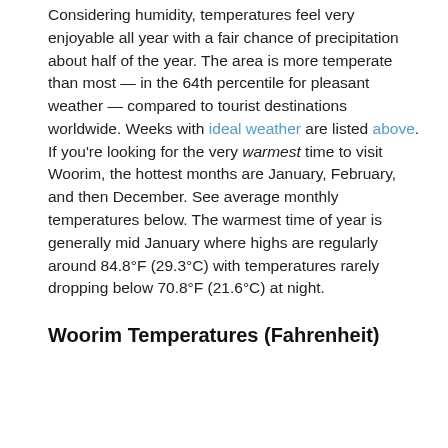Considering humidity, temperatures feel very enjoyable all year with a fair chance of precipitation about half of the year. The area is more temperate than most — in the 64th percentile for pleasant weather — compared to tourist destinations worldwide. Weeks with ideal weather are listed above. If you're looking for the very warmest time to visit Woorim, the hottest months are January, February, and then December. See average monthly temperatures below. The warmest time of year is generally mid January where highs are regularly around 84.8°F (29.3°C) with temperatures rarely dropping below 70.8°F (21.6°C) at night.
Woorim Temperatures (Fahrenheit)